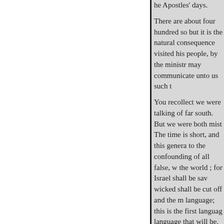the Apostles' days.
There are about four hundred so but it is the natural consequence visited his people, by the ministr may communicate unto us such t
You recollect we were talking of far south. But we were both mist The time is short, and this genera to the confounding of all false, w the world ; for Israel shall be saw wicked shall be cut off and the m language; this is the first languag language that will be.
Progress of Temperance in Engl rapid progress of Temperance So supplied, prevents the Central So parts of the kingdom. We have m multiply around us, bat we reco earnestly do we pray that the pla stayed among us."